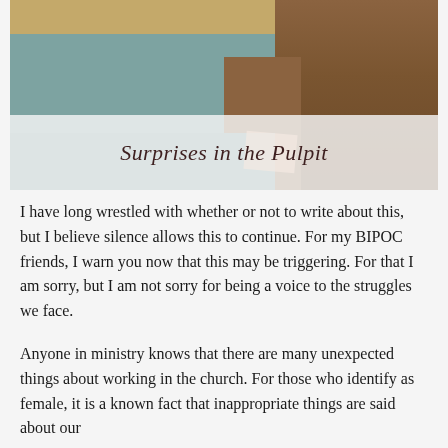[Figure (photo): Church interior photo showing upholstered seating in teal/grey fabric with wooden accents, warm beige wall in background]
Surprises in the Pulpit
I have long wrestled with whether or not to write about this, but I believe silence allows this to continue. For my BIPOC friends, I warn you now that this may be triggering. For that I am sorry, but I am not sorry for being a voice to the struggles we face.
Anyone in ministry knows that there are many unexpected things about working in the church. For those who identify as female, it is a known fact that inappropriate things are said about our